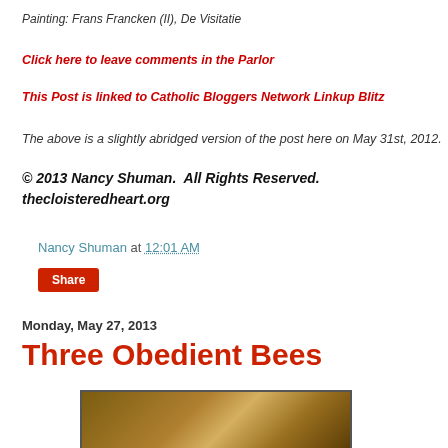Painting: Frans Francken (II), De Visitatie
Click here to leave comments in the Parlor
This Post is linked to Catholic Bloggers Network Linkup Blitz
The above is a slightly abridged version of the post here on May 31st, 2012.
© 2013 Nancy Shuman.  All Rights Reserved.
thecloisteredheart.org
Nancy Shuman at 12:01 AM
Share
Monday, May 27, 2013
Three Obedient Bees
[Figure (photo): Partial view of a painting with golden/brown drapery tones]